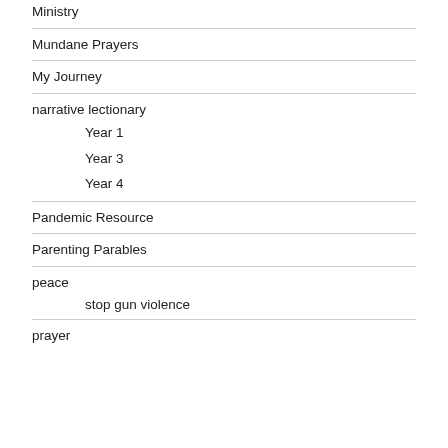Ministry
Mundane Prayers
My Journey
narrative lectionary
Year 1
Year 3
Year 4
Pandemic Resource
Parenting Parables
peace
stop gun violence
prayer